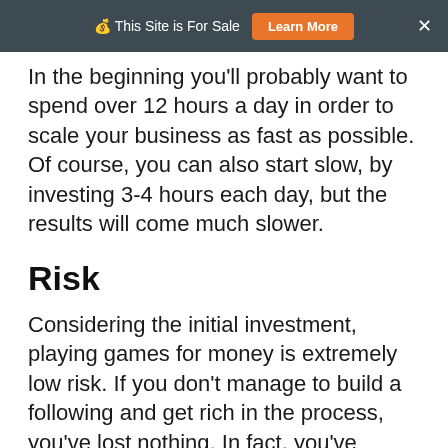💰 This Site is For Sale   Learn More   ×
In the beginning you'll probably want to spend over 12 hours a day in order to scale your business as fast as possible. Of course, you can also start slow, by investing 3-4 hours each day, but the results will come much slower.
Risk
Considering the initial investment, playing games for money is extremely low risk. If you don't manage to build a following and get rich in the process, you've lost nothing. In fact, you've gained some precious experience and you've also got a great computer and high-end camera and